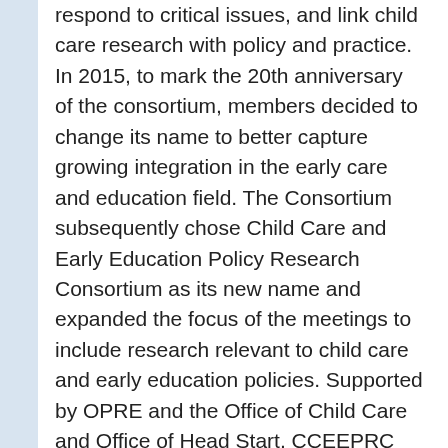respond to critical issues, and link child care research with policy and practice. In 2015, to mark the 20th anniversary of the consortium, members decided to change its name to better capture growing integration in the early care and education field. The Consortium subsequently chose Child Care and Early Education Policy Research Consortium as its new name and expanded the focus of the meetings to include research relevant to child care and early education policies. Supported by OPRE and the Office of Child Care and Office of Head Start, CCEEPRC includes former and current grantees and contractors funded by the Administration for Children and Families to conduct child care and early education policy-related research.